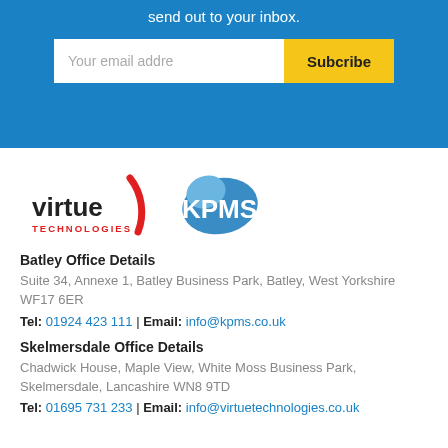send out to your inbox.
[Figure (screenshot): Email subscription input field with 'Your email addre...' placeholder and 'Subcribe' yellow button]
[Figure (logo): Virtue Technologies and KPMS combined logo]
Batley Office Details
Suite 34, Annexe 1, Batley Business Park, Batley, West Yorkshire WF17 6ER
Tel: 01924 423 111 | Email: info@kpms.co.uk
Skelmersdale Office Details
Chadwick House, Maple View, White Moss Business Park, Skelmersdale, Lancashire WN8 9TD
Tel: 01695 731 233 | Email: info@virtuetechnologies.co.uk